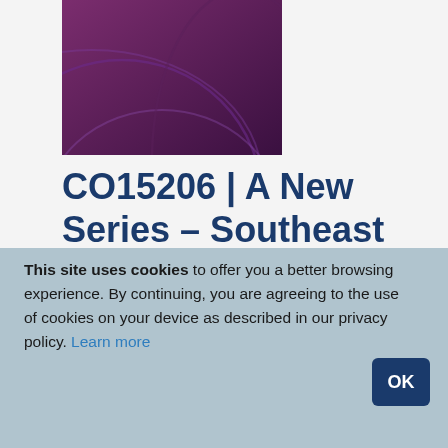[Figure (illustration): Purple/dark magenta book cover with circular arc design elements]
CO15206 | A New Series – Southeast
This site uses cookies to offer you a better browsing experience. By continuing, you are agreeing to the use of cookies on your device as described in our privacy policy. Learn more